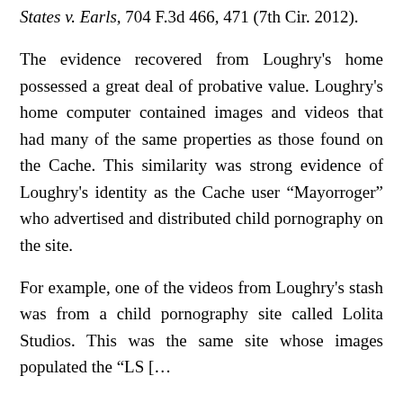States v. Earls, 704 F.3d 466, 471 (7th Cir. 2012).
The evidence recovered from Loughry's home possessed a great deal of probative value. Loughry's home computer contained images and videos that had many of the same properties as those found on the Cache. This similarity was strong evidence of Loughry's identity as the Cache user “Mayorroger” who advertised and distributed child pornography on the site.
For example, one of the videos from Loughry's stash was from a child pornography site called Lolita Studios. This was the same site whose images populated the “LS [...]